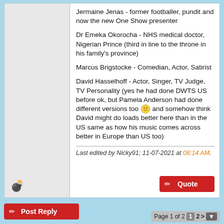Jermaine Jenas - former footballer, pundit and now the new One Show presenter
Dr Emeka Okorocha - NHS medical doctor, Nigerian Prince (third in line to the throne in his family's province)
Marcus Brigstocke - Comedian, Actor, Satirist
David Hasselhoff - Actor, Singer, TV Judge, TV Personality (yes he had done DWTS US before ok, but Pamela Anderson had done different versions too 🙂 and somehow think David might do loads better here than in the US same as how his music comes across better in Europe than US too)
Last edited by Nicky91; 11-07-2021 at 08:14 AM.
Post Reply   Page 1 of 2  1  2  >